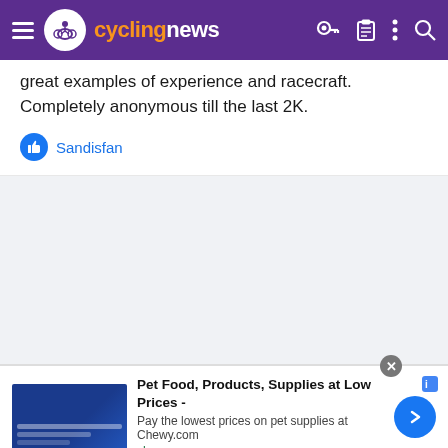cyclingnews
great examples of experience and racecraft. Completely anonymous till the last 2K.
Sandisfan
[Figure (other): Gray empty content area placeholder]
[Figure (other): Advertisement: Pet Food, Products, Supplies at Low Prices - Pay the lowest prices on pet supplies at Chewy.com | chewy.com]